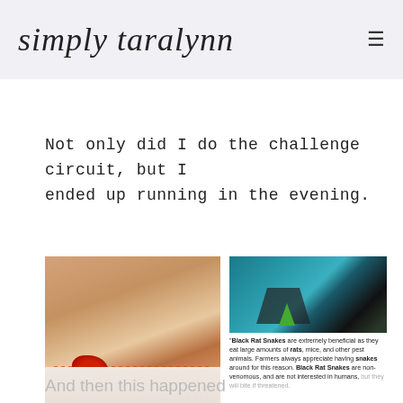simply taralynn
Not only did I do the challenge circuit, but I ended up running in the evening.
[Figure (photo): Close-up photo of a snake bite wound on an ankle/leg with red blood visible, white sock below]
[Figure (photo): Top: photo of a black rat snake; Bottom: text excerpt reading '"Black Rat Snakes are extremely beneficial as they eat large amounts of rats, mice, and other pest animals. Farmers always appreciate having snakes around for this reason. Black Rat Snakes are non-venomous, and are not interested in humans, but they will bite if threatened.']
And then this happened